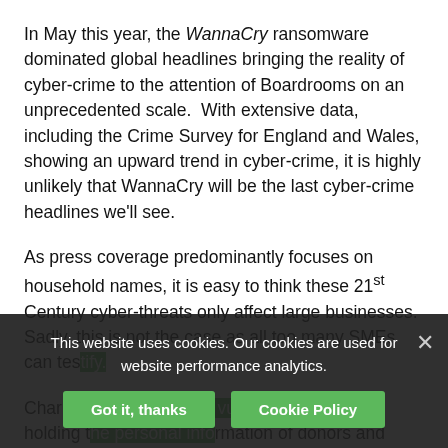In May this year, the WannaCry ransomware dominated global headlines bringing the reality of cyber-crime to the attention of Boardrooms on an unprecedented scale. With extensive data, including the Crime Survey for England and Wales, showing an upward trend in cyber-crime, it is highly unlikely that WannaCry will be the last cyber-crime headlines we'll see.
As press coverage predominantly focuses on household names, it is easy to think these 21st Century cyber-threats only affect large businesses. Sadly, this is not the case as all too many SMEs can tes…
Charities are particularly vulnerable. Through holding the personal information of donors and benefactors, the cyber-criminal finds the third…
This website uses cookies. Our cookies are used for website performance analytics.